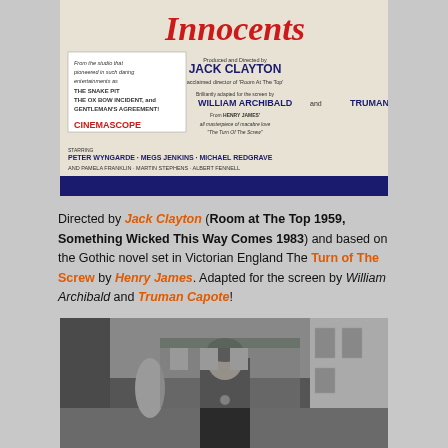[Figure (photo): Movie poster for 'The Innocents' (1961). Shows title 'Innocents' in red cursive at top. Credits include: Produced and Directed by Jack Clayton, acclaimed director of 'Room At The Top'; Brilliantly adapted for the screen by William Archibald and Truman Capote; From Henry James' masterpiece of macabre love 'The Turn Of The Screw'. Left side text references The Snake Pit, The Ox-Bow Incident, and Gentleman's Agreement. CinemaScope. Cast: Peter Wyngarde, Megs Jenkins, Michael Redgrave, Pamela Franklin, Martin Stephens, Albert Fennell. Dark navy banner at bottom.]
Directed by Jack Clayton (Room at The Top 1959, Something Wicked This Way Comes 1983) and based on the Gothic novel set in Victorian England The Turn of The Screw by Henry James. Adapted for the screen by William Archibald and Truman Capote!
[Figure (photo): Black and white still from the movie showing a woman in dark Victorian clothing standing outdoors in front of a manor house, with garden statuary and trees visible in the background.]